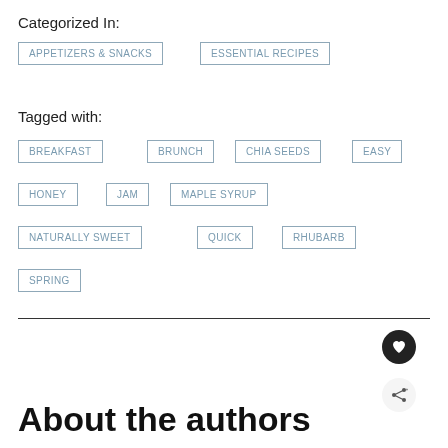Categorized In:
APPETIZERS & SNACKS
ESSENTIAL RECIPES
Tagged with:
BREAKFAST
BRUNCH
CHIA SEEDS
EASY
HONEY
JAM
MAPLE SYRUP
NATURALLY SWEET
QUICK
RHUBARB
SPRING
About the authors